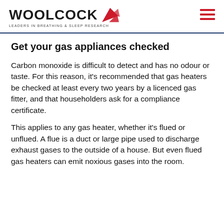WOOLCOCK LEADERS IN BREATHING & SLEEP RESEARCH
Get your gas appliances checked
Carbon monoxide is difficult to detect and has no odour or taste. For this reason, it's recommended that gas heaters be checked at least every two years by a licenced gas fitter, and that householders ask for a compliance certificate.
This applies to any gas heater, whether it's flued or unflued. A flue is a duct or large pipe used to discharge exhaust gases to the outside of a house. But even flued gas heaters can emit noxious gases into the room.